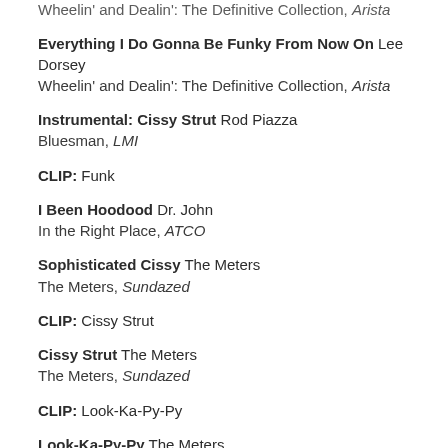Wheelin' and Dealin': The Definitive Collection, Arista
Everything I Do Gonna Be Funky From Now On Lee Dorsey
Wheelin' and Dealin': The Definitive Collection, Arista
Instrumental: Cissy Strut Rod Piazza
Bluesman, LMI
CLIP: Funk
I Been Hoodood Dr. John
In the Right Place, ATCO
Sophisticated Cissy The Meters
The Meters, Sundazed
CLIP: Cissy Strut
Cissy Strut The Meters
The Meters, Sundazed
CLIP: Look-Ka-Py-Py
Look-Ka-Py-Py The Meters
Look-Ka-Py-Py, Sundazed
CLIP: They All Asked for You